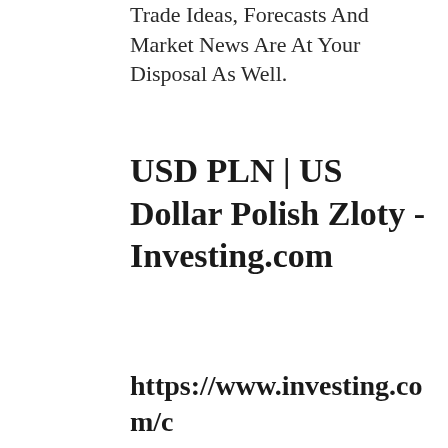Trade Ideas, Forecasts And Market News Are At Your Disposal As Well.
USD PLN | US Dollar Polish Zloty - Investing.com
https://www.investing.com/currencies/usd-pln